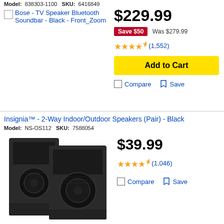Model: 838303-1100  SKU: 6416849
[Figure (photo): Bose TV Speaker Bluetooth Soundbar - Black product thumbnail placeholder image]
$229.99
Save $50  Was $279.99
4.5 stars (1,552)
Add to Cart
Compare  Save
Insignia™ - 2-Way Indoor/Outdoor Speakers (Pair) - Black
Model: NS-OS112  SKU: 7588054
[Figure (photo): Insignia 2-Way Indoor/Outdoor Speakers pair - two black rectangular speaker cabinets]
$39.99
4.5 stars (1,046)
Compare  Save